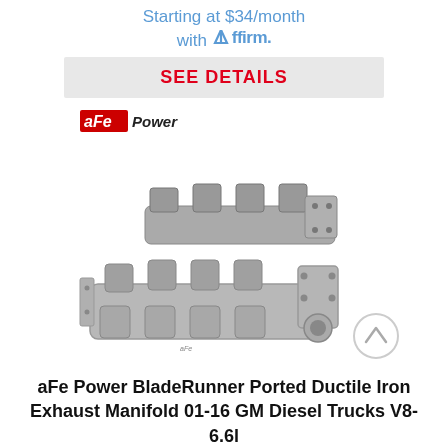Starting at $34/month with Affirm.
SEE DETAILS
[Figure (logo): aFe Power brand logo in red and white italic text]
[Figure (photo): aFe Power BladeRunner Ported Ductile Iron Exhaust Manifold product photo showing two cast iron exhaust manifolds on a white background]
aFe Power BladeRunner Ported Ductile Iron Exhaust Manifold 01-16 GM Diesel Trucks V8-6.6l